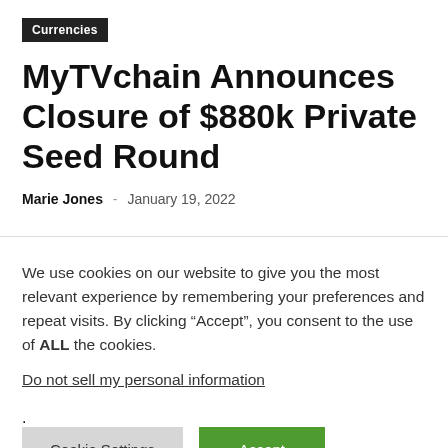Currencies
MyTVchain Announces Closure of $880k Private Seed Round
Marie Jones - January 19, 2022
We use cookies on our website to give you the most relevant experience by remembering your preferences and repeat visits. By clicking “Accept”, you consent to the use of ALL the cookies.
Do not sell my personal information.